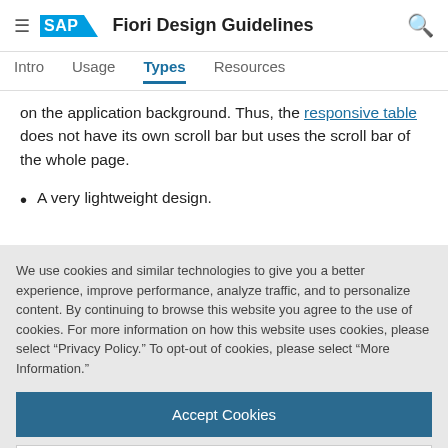SAP Fiori Design Guidelines
Intro  Usage  Types  Resources
on the application background. Thus, the responsive table does not have its own scroll bar but uses the scroll bar of the whole page.
A very lightweight design.
We use cookies and similar technologies to give you a better experience, improve performance, analyze traffic, and to personalize content. By continuing to browse this website you agree to the use of cookies. For more information on how this website uses cookies, please select “Privacy Policy.” To opt-out of cookies, please select “More Information.”
Accept Cookies
More Information
Privacy Policy | Powered by: TrustArc